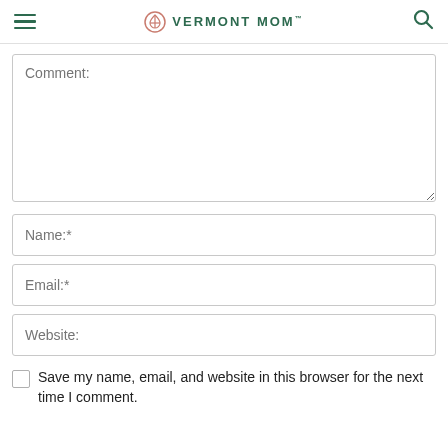Vermont Mom
Comment:
Name:*
Email:*
Website:
Save my name, email, and website in this browser for the next time I comment.